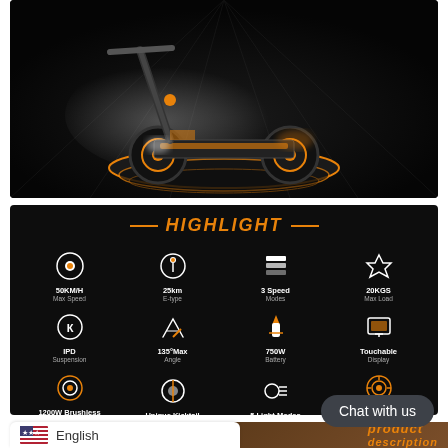[Figure (photo): Electric scooter (black and orange) displayed on a dark platform with dramatic lighting and a front headlight beam effect]
[Figure (infographic): HIGHLIGHT section on dark background showing 12 feature icons in a 4x3 grid: 50KM/H Max Speed, 25km E-type, 3 Speed Modes, 20KGS Max Load, IPD Suspension, 135° Max Angle, 750W Battery, Touchable Display, 1200W Brushless Motor, Unique Kicktail, 5 Light Modes, 10.5 Inches Off Road Tires]
[Figure (screenshot): Partial bottom section showing a product description area in brown/orange and a language selector showing English with US flag]
English
Chat with us
product description